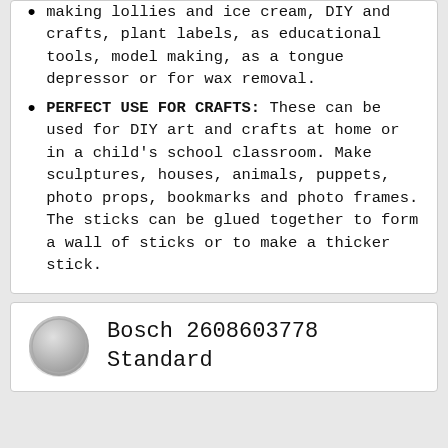making lollies and ice cream, DIY and crafts, plant labels, as educational tools, model making, as a tongue depressor or for wax removal.
PERFECT USE FOR CRAFTS: These can be used for DIY art and crafts at home or in a child's school classroom. Make sculptures, houses, animals, puppets, photo props, bookmarks and photo frames. The sticks can be glued together to form a wall of sticks or to make a thicker stick.
Bosch 2608603778 Standard